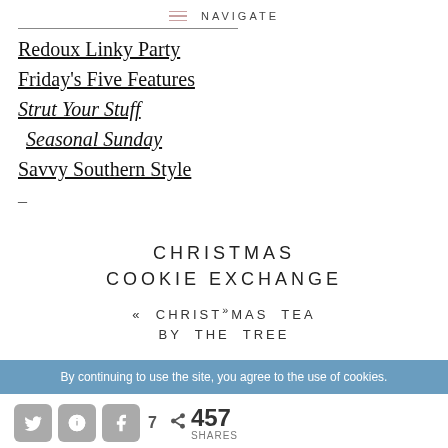NAVIGATE
Redoux Linky Party
Friday's Five Features
Strut Your Stuff
Seasonal Sunday
Savvy Southern Style
CHRISTMAS COOKIE EXCHANGE
« CHRISTMAS TEA BY THE TREE »
By continuing to use the site, you agree to the use of cookies.
7   457 SHARES